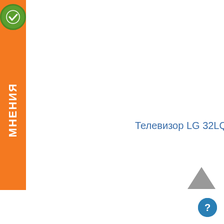[Figure (logo): Orange vertical sidebar banner with green checkmark badge at top and white bold text 'МНЕНИЯ' written vertically]
Телевизор LG 32LQ63806LC
[Figure (other): Dark gray upward-pointing chevron arrow icon for scroll to top]
[Figure (other): Blue circular help button with question mark icon]